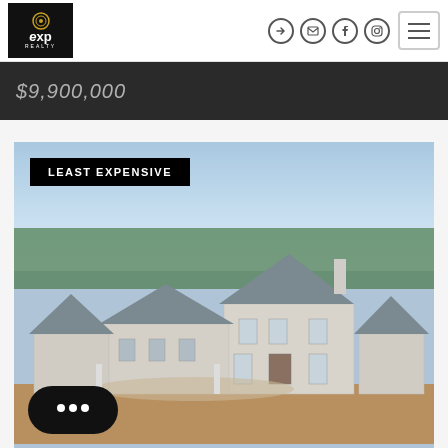[Figure (logo): eXp Realty logo with circular target emblem on black background]
$9,900,000
[Figure (photo): Luxury estate home exterior photo labeled LEAST EXPENSIVE, large French-style mansion with slate roofs, light stucco exterior, multiple gabled rooflines, wide driveway, dry ground foreground, trees in background, blue sky]
LEAST EXPENSIVE